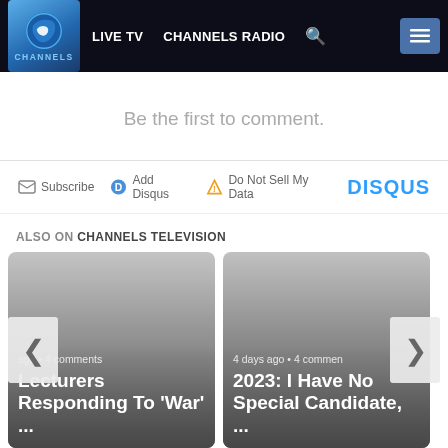LIVE TV  CHANNELS RADIO
Be the first to comment.
Subscribe  Add Disqus  Do Not Sell My Data  DISQUS
ALSO ON CHANNELS TELEVISION
[Figure (screenshot): Card with text: ago • 4 comments — Lecturers Responding To 'War' ...]
[Figure (screenshot): Card with text: 4 days ago • 4 comments — 2023: I Have No Special Candidate, ...]